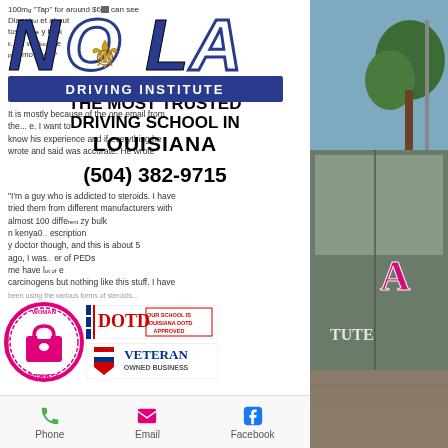[Figure (logo): NOLA Driving Institute logo with fleur-de-lis and block letters]
100mg "Tap" for around $60 can see Dianab... et about tostero... y bulk ... the ... mo code? It is mostly because of the one email from the... e. I want to know his experience and if everything he wrote and said was accurate. He wrote
THE MOST TRUSTED DRIVING SCHOOL IN LOUISIANA
(504) 382-9715
"I'm a guy who is addicted to steroids. I have tried them from different manufacturers with almost 100 diffe... zy bulk ... kenya0... escription ... y doctor though, and this is about 5 ... ago, I was... er of PEDs ... me have l... e carcinogens but nothing like this stuff. I have
[Figure (logo): Woman Owned Business badge (pink circular badge with handbag icon)]
[Figure (logo): DOTD Louisiana Department of Transportation and Development badge]
[Figure (logo): Veteran Owned Business badge with American flag shield]
Phone  Email  Facebook
[Figure (photo): Photo of a car with NOLA Driving Institute decal on the door, parked outdoors]